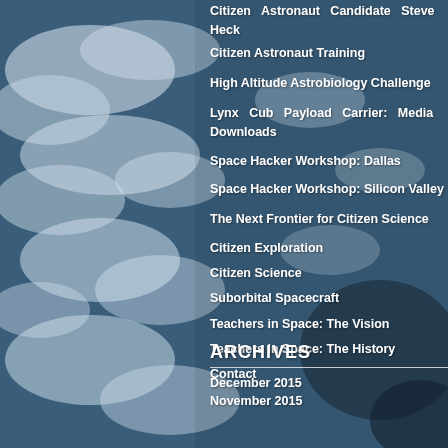[Figure (photo): Aerial/satellite photograph of Earth showing cloud formations over ocean, taken from space or high altitude. Left half of the page.]
Citizen Astronaut Candidate Steve Heck
Citizen Astronaut Training
High Altitude Astrobiology Challenge
Lynx Cub Payload Carrier: Media Downloads
Space Hacker Workshop: Dallas
Space Hacker Workshop: Silicon Valley
The Next Frontier for Citizen Science
Citizen Exploration
Citizen Science
Suborbital Spacecraft
Teachers in Space: The Vision
Teachers in Space: The History
Contact
ARCHIVES
December 2015
November 2015